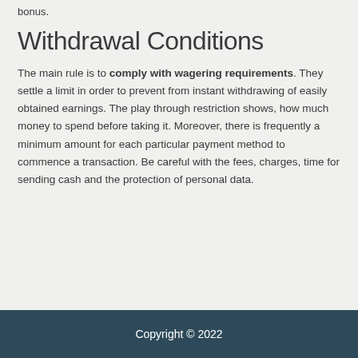bonus.
Withdrawal Conditions
The main rule is to comply with wagering requirements. They settle a limit in order to prevent from instant withdrawing of easily obtained earnings. The play through restriction shows, how much money to spend before taking it. Moreover, there is frequently a minimum amount for each particular payment method to commence a transaction. Be careful with the fees, charges, time for sending cash and the protection of personal data.
Copyright © 2022